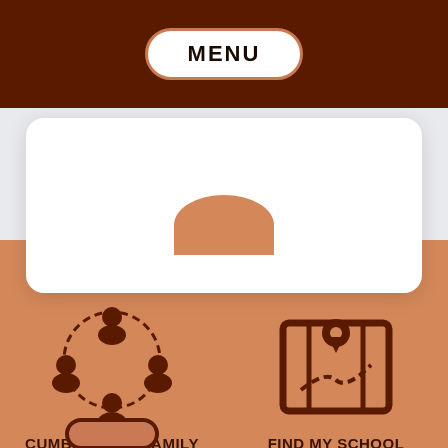MENU
[Figure (screenshot): White card area on light gray background with rounded corners]
[Figure (infographic): Community/family icon with circular arrangement of people figures, brown on salmon background. Label: CUMBERLAND FAMILY ACADEMY]
CUMBERLAND FAMILY ACADEMY
[Figure (infographic): Map with location pin icon, brown on salmon background. Label: FIND MY SCHOOL]
FIND MY SCHOOL